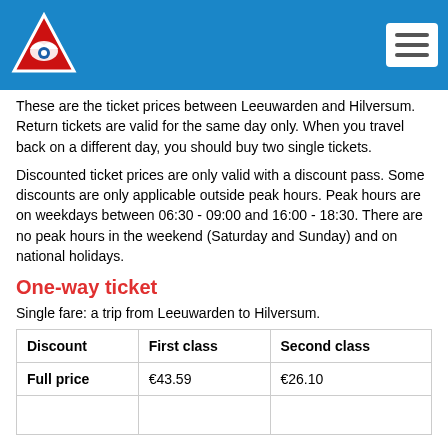NS train ticket prices header with logo and navigation
These are the ticket prices between Leeuwarden and Hilversum. Return tickets are valid for the same day only. When you travel back on a different day, you should buy two single tickets.
Discounted ticket prices are only valid with a discount pass. Some discounts are only applicable outside peak hours. Peak hours are on weekdays between 06:30 - 09:00 and 16:00 - 18:30. There are no peak hours in the weekend (Saturday and Sunday) and on national holidays.
One-way ticket
Single fare: a trip from Leeuwarden to Hilversum.
| Discount | First class | Second class |
| --- | --- | --- |
| Full price | €43.59 | €26.10 |